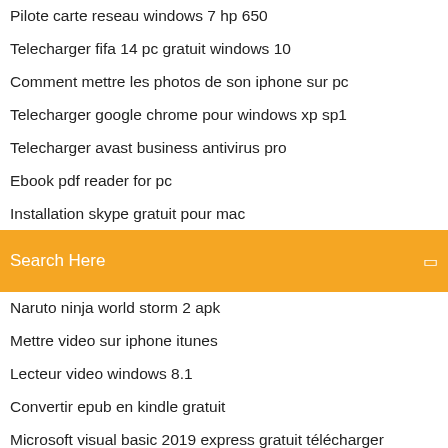Pilote carte reseau windows 7 hp 650
Telecharger fifa 14 pc gratuit windows 10
Comment mettre les photos de son iphone sur pc
Telecharger google chrome pour windows xp sp1
Telecharger avast business antivirus pro
Ebook pdf reader for pc
Installation skype gratuit pour mac
[Figure (screenshot): Orange search bar with text 'Search Here' and a small icon on the right]
Naruto ninja world storm 2 apk
Mettre video sur iphone itunes
Lecteur video windows 8.1
Convertir epub en kindle gratuit
Microsoft visual basic 2019 express gratuit télécharger
Jeux video a jouer a plusieurs
Convert a pdf to excel in adobe
Savoir si mon pc est assez puissant pour un jeu
Comment enregistrer un snap recu dans la galerie
War of tanks blitz strategy